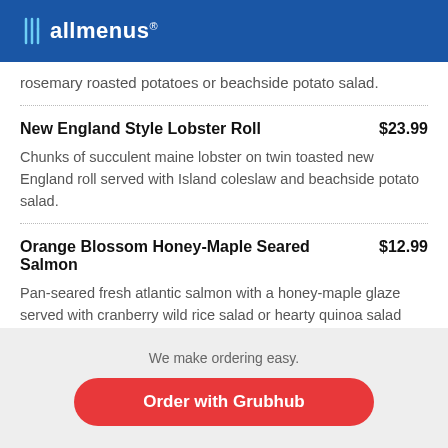allmenus
rosemary roasted potatoes or beachside potato salad.
New England Style Lobster Roll $23.99
Chunks of succulent maine lobster on twin toasted new England roll served with Island coleslaw and beachside potato salad.
Orange Blossom Honey-Maple Seared Salmon $12.99
Pan-seared fresh atlantic salmon with a honey-maple glaze served with cranberry wild rice salad or hearty quinoa salad and fresh mango pineapple chutney.
We make ordering easy.
Order with Grubhub